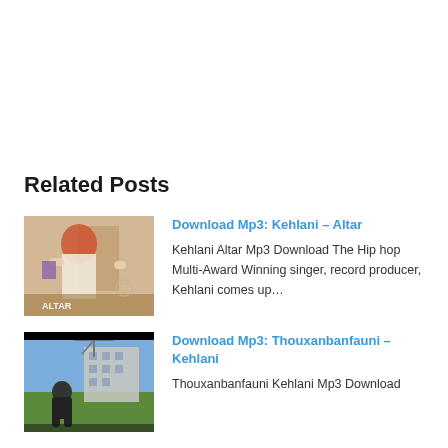Related Posts
[Figure (photo): Album cover / promotional photo for Kehlani – Altar, showing a woman with red hair in a room, with the word ALTAR visible]
Download Mp3: Kehlani – Altar
Kehlani Altar Mp3 Download The Hip hop Multi-Award Winning singer, record producer, Kehlani comes up…
[Figure (photo): Promotional photo for Thouxanbanfauni – Kehlani, showing a person seated outdoors with a building in background]
Download Mp3: Thouxanbanfauni – Kehlani
Thouxanbanfauni Kehlani Mp3 Download